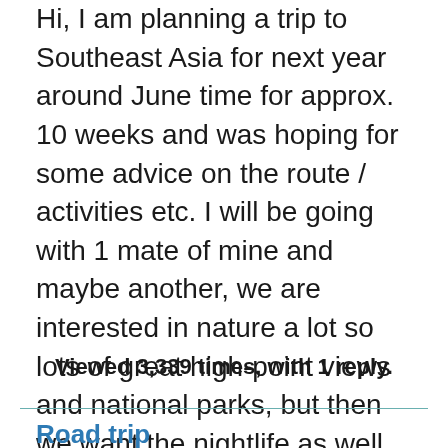Hi, I am planning a trip to Southeast Asia for next year around June time for approx. 10 weeks and was hoping for some advice on the route / activities etc. I will be going with 1 mate of mine and maybe another, we are interested in nature a lot so lots of great high-point views and national parks, but then we want the nightlife as well, especially in thailand as well as culture and history. Please let me know for any advice on how long we should spend in each place. Vietnam: - fly to Hanoi ...
Read the full post.
Viewed 3,339 times, with 1 reply.
Road trip VN~Cambodia~Laos~VN~Thailand